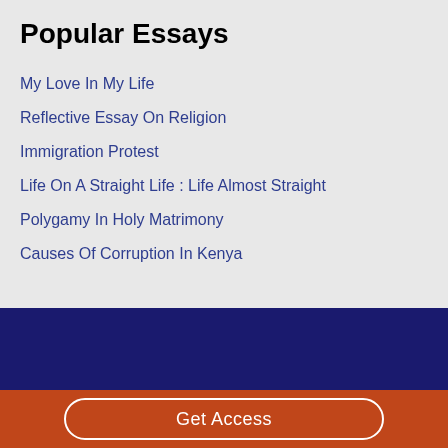Popular Essays
My Love In My Life
Reflective Essay On Religion
Immigration Protest
Life On A Straight Life : Life Almost Straight
Polygamy In Holy Matrimony
Causes Of Corruption In Kenya
Get Access